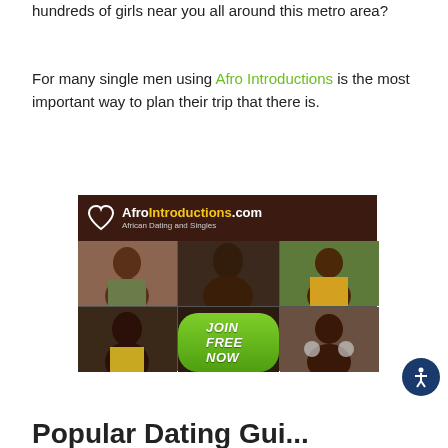hundreds of girls near you all around this metro area?
For many single men using Afro Introductions is the most important way to plan their trip that there is.
[Figure (illustration): AfroIntroductions.com advertisement banner showing African Dating and Singles site with photos of women and a JOIN FREE NOW button]
Popular Dating Guide...